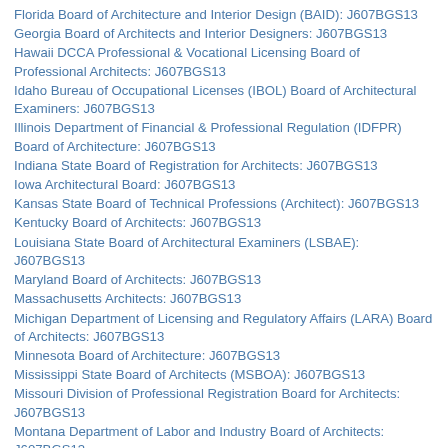Florida Board of Architecture and Interior Design (BAID): J607BGS13
Georgia Board of Architects and Interior Designers: J607BGS13
Hawaii DCCA Professional & Vocational Licensing Board of Professional Architects: J607BGS13
Idaho Bureau of Occupational Licenses (IBOL) Board of Architectural Examiners: J607BGS13
Illinois Department of Financial & Professional Regulation (IDFPR) Board of Architecture: J607BGS13
Indiana State Board of Registration for Architects: J607BGS13
Iowa Architectural Board: J607BGS13
Kansas State Board of Technical Professions (Architect): J607BGS13
Kentucky Board of Architects: J607BGS13
Louisiana State Board of Architectural Examiners (LSBAE): J607BGS13
Maryland Board of Architects: J607BGS13
Massachusetts Architects: J607BGS13
Michigan Department of Licensing and Regulatory Affairs (LARA) Board of Architects: J607BGS13
Minnesota Board of Architecture: J607BGS13
Mississippi State Board of Architects (MSBOA): J607BGS13
Missouri Division of Professional Registration Board for Architects: J607BGS13
Montana Department of Labor and Industry Board of Architects: J607BGS13